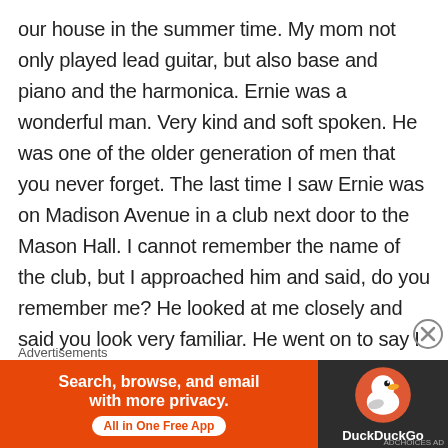our house in the summer time. My mom not only played lead guitar, but also base and piano and the harmonica. Ernie was a wonderful man. Very kind and soft spoken. He was one of the older generation of men that you never forget. The last time I saw Ernie was on Madison Avenue in a club next door to the Mason Hall. I cannot remember the name of the club, but I approached him and said, do you remember me? He looked at me closely and said you look very familiar. He went on to say I do know you from somewhere, but I cannot place where. When I told him that my mom was Ann Marie Guevin and that he met her at the Jolly Inn and that he had been playing guitar with her at our home on Alexander street, I told him that I was about
Advertisements
[Figure (infographic): DuckDuckGo advertisement banner. Left orange section reads 'Search, browse, and email with more privacy. All in One Free App'. Right dark section shows DuckDuckGo duck logo and 'DuckDuckGo' text.]